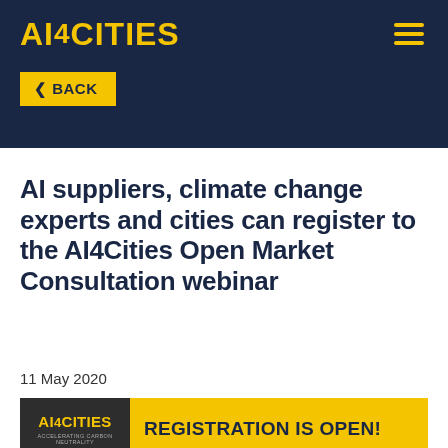AI4CITIES
< BACK
AI suppliers, climate change experts and cities can register to the AI4Cities Open Market Consultation webinar
11 May 2020
[Figure (logo): AI4Cities banner with dark logo box on left and yellow background with text REGISTRATION IS OPEN! on right]